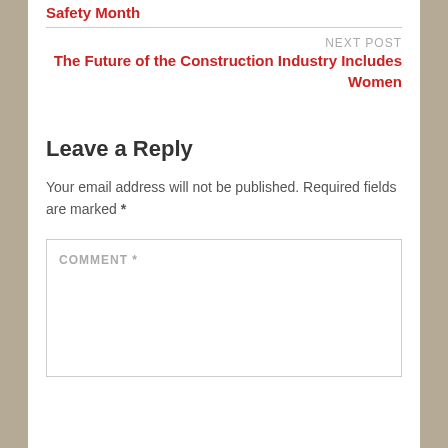Safety Month
NEXT POST
The Future of the Construction Industry Includes Women
Leave a Reply
Your email address will not be published. Required fields are marked *
COMMENT *